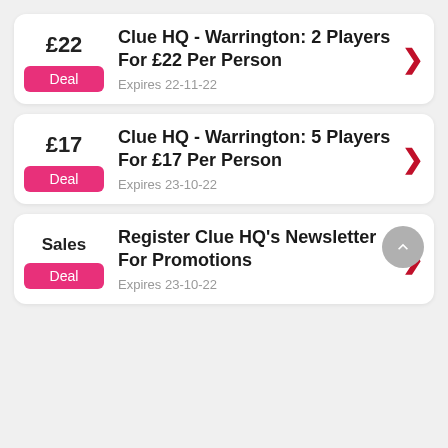Clue HQ - Warrington: 2 Players For £22 Per Person
Expires 22-11-22
Clue HQ - Warrington: 5 Players For £17 Per Person
Expires 23-10-22
Register Clue HQ's Newsletter For Promotions
Expires 23-10-22